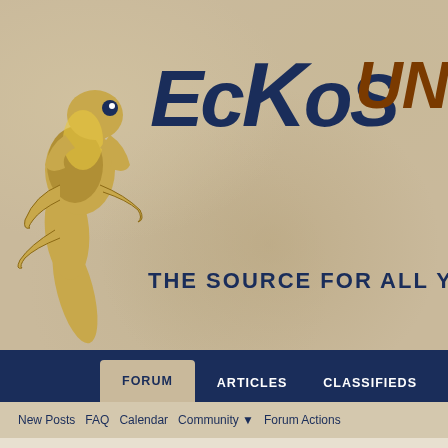[Figure (screenshot): Geckos Unlimited forum website header with gecko logo illustration, site name 'Geckos Unlimited' with tagline 'The Source For All Your Gecko Needs', navigation tabs (Forum, Articles, Classifieds), sub-navigation links (New Posts, FAQ, Calendar, Community, Forum Actions), breadcrumb showing FAQ > BB Code List, and a content panel with blue border]
GecKoS UNLIMITED - THE SOURCE FOR ALL YOUR GECKO NEEDS
FORUM   ARTICLES   CLASSIFIEDS
New Posts  FAQ  Calendar  Community ▼  Forum Actions
FAQ ❯ BB CODE LIST